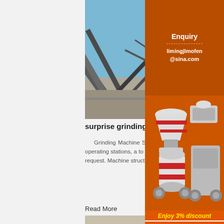[Figure (photo): Industrial grinding/conveyor machinery structure with steel framework against blue sky]
surprise grinding machine - uracars.pl
Grinding Machine Series 4000 ccassani. Machine Series 4000 Technical Features Mod construction from 1 to 10 operating stations, a to production and grade of wished finishing li structure in over dimensioned steel suitable t working request. Machine structure conceived cleaning easiness, inspection and ...
Read More
[Figure (photo): Mobile crushing/screening equipment at a quarry site]
[Figure (photo): Advertisement sidebar showing crushing and grinding equipment with discount offer]
Enjoy 3% discount
Click to Chat
Enquiry
limingjlmofen@sina.com